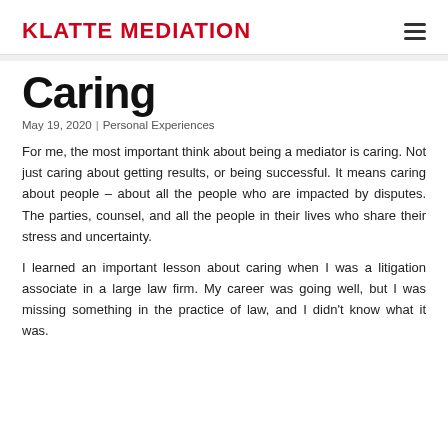KLATTE MEDIATION
Caring
May 19, 2020 | Personal Experiences
For me, the most important think about being a mediator is caring. Not just caring about getting results, or being successful. It means caring about people – about all the people who are impacted by disputes. The parties, counsel, and all the people in their lives who share their stress and uncertainty.
I learned an important lesson about caring when I was a litigation associate in a large law firm. My career was going well, but I was missing something in the practice of law, and I didn't know what it was.